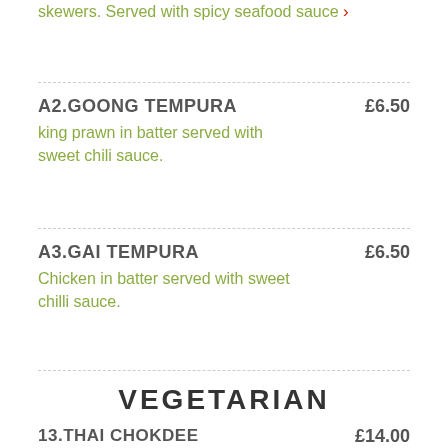skewers. Served with spicy seafood sauce ›
A2.GOONG TEMPURA £6.50 — king prawn in batter served with sweet chili sauce.
A3.GAI TEMPURA £6.50 — Chicken in batter served with sweet chilli sauce.
VEGETARIAN
13.THAI CHOKDEE £14.00